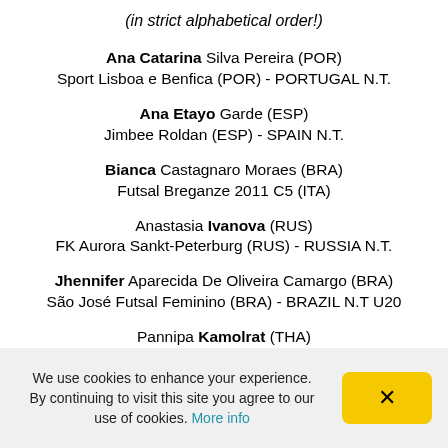(in strict alphabetical order!)
Ana Catarina Silva Pereira (POR)
Sport Lisboa e Benfica (POR) - PORTUGAL N.T.
Ana Etayo Garde (ESP)
Jimbee Roldan (ESP) - SPAIN N.T.
Bianca Castagnaro Moraes (BRA)
Futsal Breganze 2011 C5 (ITA)
Anastasia Ivanova (RUS)
FK Aurora Sankt-Peterburg (RUS) - RUSSIA N.T.
Jhennifer Aparecida De Oliveira Camargo (BRA)
São José Futsal Feminino (BRA) - BRAZIL N.T U20
Pannipa Kamolrat (THA)
Bangkok Futsal Club (THA) - Amorn BluWave Chonburi
We use cookies to enhance your experience. By continuing to visit this site you agree to our use of cookies. More info